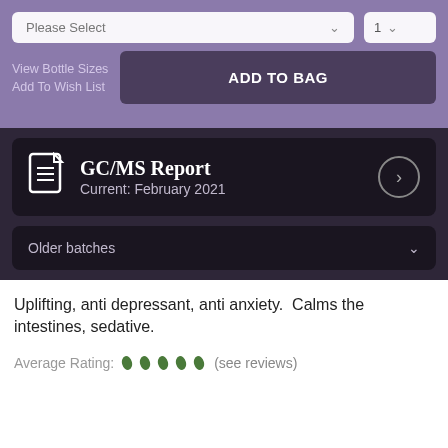[Figure (screenshot): Dropdown selector showing 'Please Select' with chevron, and quantity selector showing '1' with chevron]
View Bottle Sizes
Add To Wish List
ADD TO BAG
[Figure (screenshot): GC/MS Report banner showing document icon, title 'GC/MS Report', subtitle 'Current: February 2021', and right arrow circle]
Older batches
Uplifting, anti depressant, anti anxiety.  Calms the intestines, sedative.
Average Rating: (see reviews)